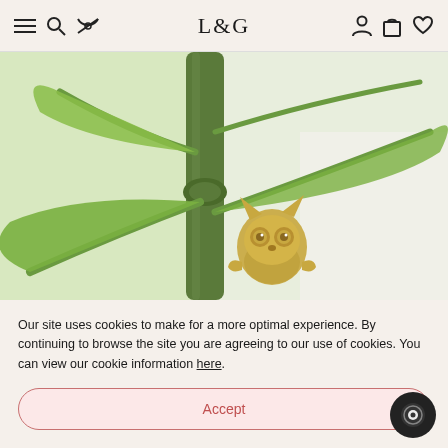L&G navigation bar with menu, search, hide, account, cart, and wishlist icons
[Figure (photo): Close-up photo of green plant stems with a small gold metallic owl/lemur charm clipped to the stem, set against a light background.]
Our site uses cookies to make for a more optimal experience. By continuing to browse the site you are agreeing to our use of cookies. You can view our cookie information here.
Accept
Dismiss